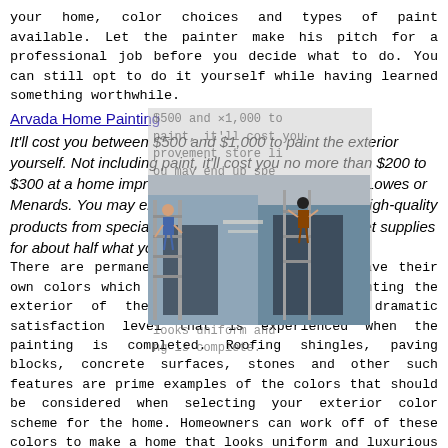your home, color choices and types of paint available. Let the painter make his pitch for a professional job before you decide what to do. You can still opt to do it yourself while having learned something worthwhile.
Arvada Home Painting
It'll cost you between $500 and $1,000 to paint the exterior yourself. Not including paint, it'll cost you no more than $200 to $300 at a home improvement store like Home Depot, Lowes or Menards. You may end up spending more if you buy high-quality products from specialized shops. Professionals can get supplies for about half what you'll pay.
[Figure (photo): Photo of a house exterior being painted, showing painters on ladders working on the siding]
There are permanent parts of a home that have their own colors which cannot be changed when painting the exterior of the home but can have a dramatic satisfaction level that is experienced when the painting is completed. Roofing shingles, paving blocks, concrete surfaces, stones and other such features are prime examples of the colors that should be considered when selecting your exterior color scheme for the home. Homeowners can work off of these colors to make a home that looks uniform and luxurious when the exterior painting is complete.
Walls should be wet down before getting scrubbed, then washed with a gallon of water mixed with 1 cup chlorine bleach and 1 cup of either a